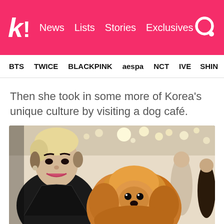k! News  Lists  Stories  Exclusives
BTS  TWICE  BLACKPINK  aespa  NCT  IVE  SHIN
Then she took in some more of Korea's unique culture by visiting a dog café.
[Figure (photo): Woman with short blonde hair smiling and holding a fluffy golden Pomeranian dog at a dog café in Korea. Interior setting with bokeh string lights visible in background.]